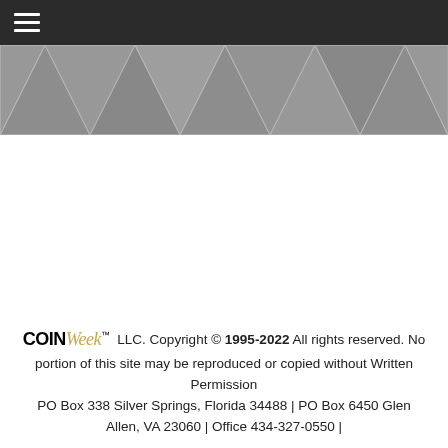CoinWeek LLC. Copyright © 1995-2022 All rights reserved. No portion of this site may be reproduced or copied without Written Permission
[Figure (illustration): Gray geometric diamond/triangle repeating pattern banner below navigation bar]
CoinWeek LLC. Copyright © 1995-2022 All rights reserved. No portion of this site may be reproduced or copied without Written Permission PO Box 338 Silver Springs, Florida 34488 | PO Box 6450 Glen Allen, VA 23060 | Office 434-327-0550 |